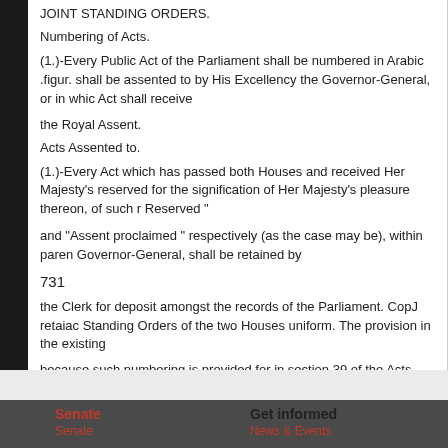JOINT STANDING ORDERS.
Numbering of Acts.
(1.)-Every Public Act of the Parliament shall be numbered in Arabic .figures. It shall be assented to by His Excellency the Governor-General, or in which the Act shall receive
the Royal Assent.
Acts Assented to.
(1.)-Every Act which has passed both Houses and received Her Majesty's reserved for the signification of Her Majesty's pleasure thereon, of such matter Reserved "
and "Assent proclaimed " respectively (as the case may be), within parentheses Governor-General, shall be retained by
731
the Clerk for deposit amongst the records of the Parliament. CopJ retaiac Standing Orders of the two Houses uniform. The provision in the existing
because such numbering is provided for in section 39 of the Acts Interpre
Printed and Published for the GovERNMENT of the CoMMONWEALTH O
Senate | Get informed | Senate | News & Events